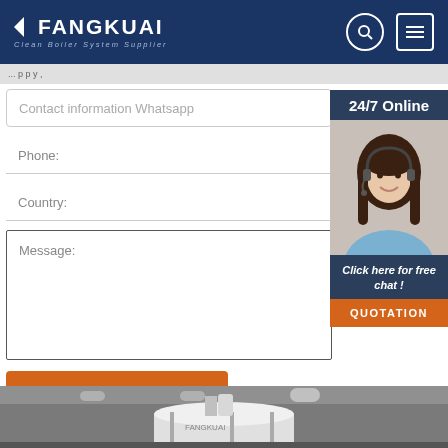FANGKUAI Clean Boiler System Supplier
Contact information Whatsapp
Phone:
Country:
Message:
[Figure (photo): 24/7 Online customer service representative with headset, smiling. Below: 'Click here for free chat!' and orange QUOTATION button.]
Submit Now
[Figure (photo): Industrial boiler equipment photo at the bottom of the page, showing pipes and cylindrical boiler components.]